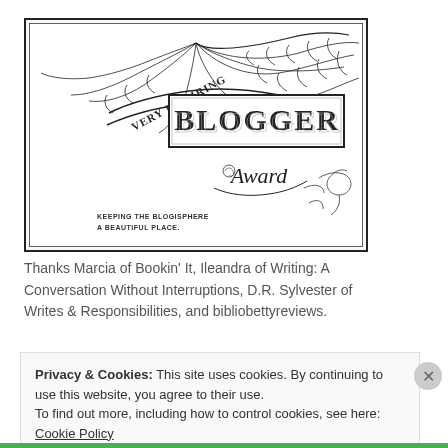[Figure (illustration): Very Inspiring Blogger Award decorative certificate with ornate feather/scroll design. Text reads 'VERY INSPIRING BLOGGER Award' and 'KEEPING THE BLOGISPHERE A BEAUTIFUL PLACE.']
Thanks Marcia of Bookin' It, Ileandra of Writing: A Conversation Without Interruptions, D.R. Sylvester of Writes & Responsibilities, and bibliobettyreviews.
Privacy & Cookies: This site uses cookies. By continuing to use this website, you agree to their use.
To find out more, including how to control cookies, see here: Cookie Policy
Close and accept